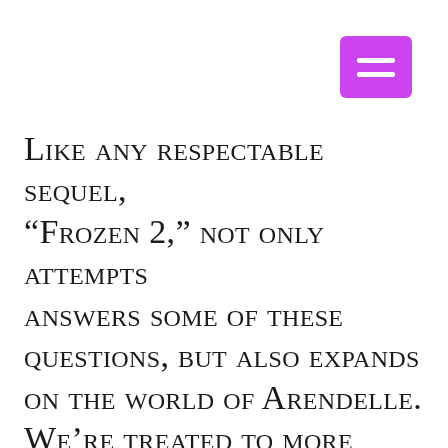[Figure (other): Purple hamburger menu button icon in top-right corner]
Like any respectable sequel, “Frozen 2,” not only attempts answers some of these questions, but also expands on the world of Arendelle. We’re treated to more magical lore and a deepening of Arendelle history, and storylines with character development for our three